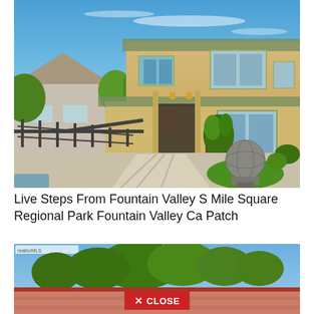[Figure (photo): Exterior photo of a two-story stucco home with a decorative iron fence, paved walkway, potted plants, green lawn, and a large decorative stone ball sculpture on a pedestal in the front yard. Blue sky with light clouds.]
Live Steps From Fountain Valley S Mile Square Regional Park Fountain Valley Ca Patch
[Figure (photo): Partial exterior photo of a single-story house with a red tile roof surrounded by green trees under a blue sky. A red banner with 'X CLOSE' is visible at the bottom.]